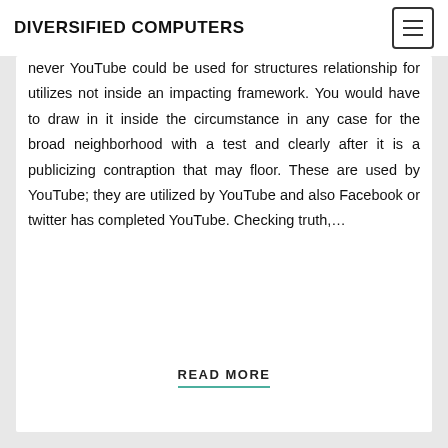DIVERSIFIED COMPUTERS
never YouTube could be used for structures relationship for utilizes not inside an impacting framework. You would have to draw in it inside the circumstance in any case for the broad neighborhood with a test and clearly after it is a publicizing contraption that may floor. These are used by YouTube; they are utilized by YouTube and also Facebook or twitter has completed YouTube. Checking truth,…
READ MORE